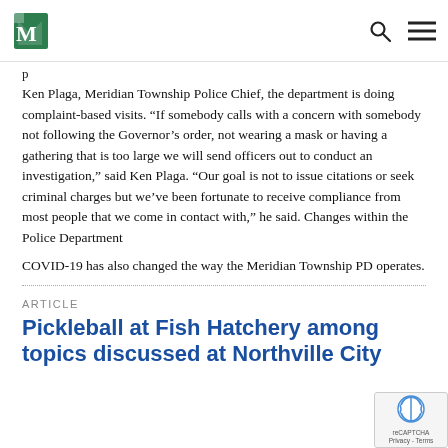[Logo] [Search icon] [Menu icon]
p
Ken Plaga, Meridian Township Police Chief, the department is doing complaint-based visits. “If somebody calls with a concern with somebody not following the Governor’s order, not wearing a mask or having a gathering that is too large we will send officers out to conduct an investigation,” said Ken Plaga. “Our goal is not to issue citations or seek criminal charges but we’ve been fortunate to receive compliance from most people that we come in contact with,” he said. Changes within the Police Department
COVID-19 has also changed the way the Meridian Township PD operates.
ARTICLE
Pickleball at Fish Hatchery among topics discussed at Northville City